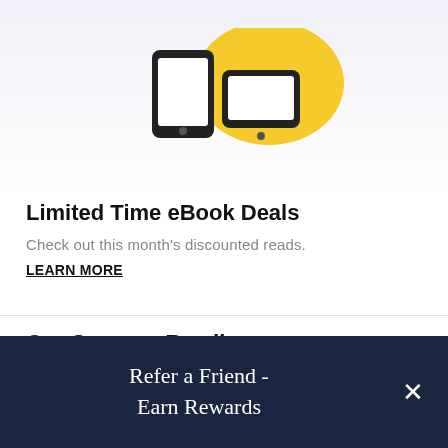[Figure (illustration): Two mobile device icons (phone and tablet) with a yellow speech bubble/badge shape behind them, on a light lavender-white gradient background]
Limited Time eBook Deals
Check out this month's discounted reads.
LEARN MORE
Our Summer Reading Recommendations
Red-hot romances, poolside fiction, and blockbuster
Refer a Friend - Earn Rewards